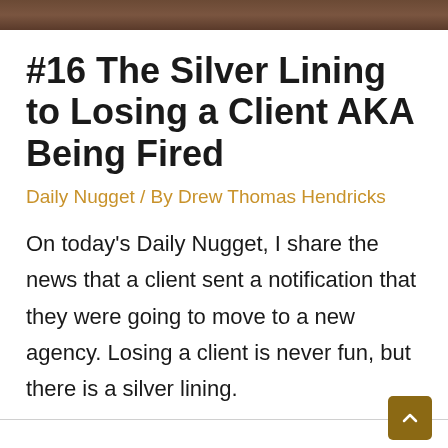[Figure (photo): Top portion of a photo showing a person in a dark jacket, partially cropped]
#16 The Silver Lining to Losing a Client AKA Being Fired
Daily Nugget / By Drew Thomas Hendricks
On today's Daily Nugget, I share the news that a client sent a notification that they were going to move to a new agency. Losing a client is never fun, but there is a silver lining.